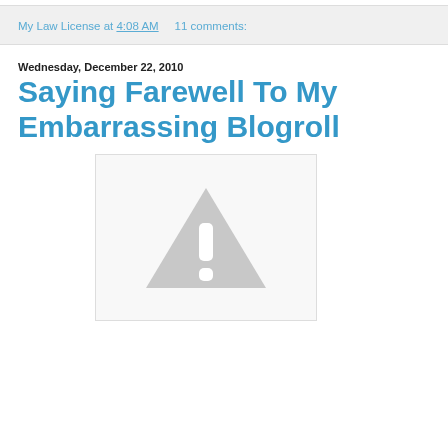My Law License at 4:08 AM    11 comments:
Wednesday, December 22, 2010
Saying Farewell To My Embarrassing Blogroll
[Figure (other): Broken image placeholder with a grey warning triangle and exclamation mark on white background]